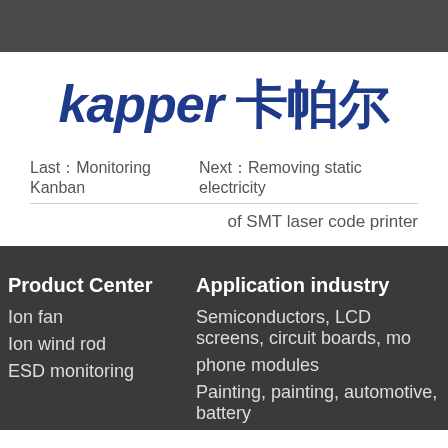[Figure (logo): Kapper brand logo with Latin and Chinese characters in dark blue]
Last：Monitoring Kanban
Next：Removing static electricity
of SMT laser code printer
Product Center
Application industry
Ion fan
Semiconductors, LCD screens, circuit boards, mo
Ion wind rod
phone modules
ESD monitoring
Painting, painting, automotive, battery